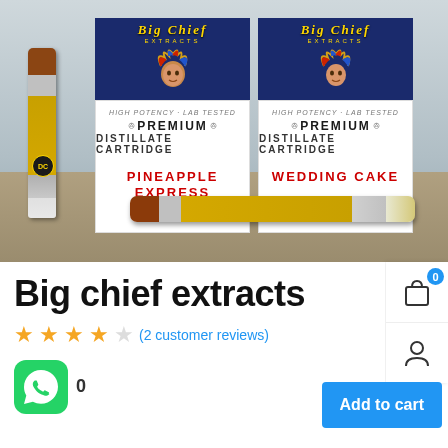[Figure (photo): Product photo of Big Chief Extracts vape cartridges. Two boxes (Pineapple Express and Wedding Cake flavors) with gold Native American chief logos on blue/white packaging, along with two cannabis oil vape cartridge pens on a wooden surface.]
Big chief extracts
(2 customer reviews)
0
Add to cart